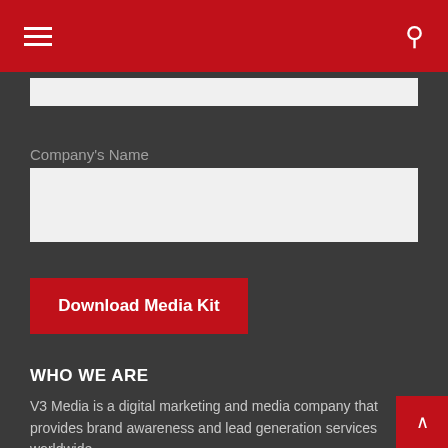Navigation bar with hamburger menu and search icon
Company's Name
Download Media Kit
WHO WE ARE
V3 Media is a digital marketing and media company that provides brand awareness and lead generation services worldwide
The V3 Media team consists of over 300 marketing specialists, data science experts, and martech engineers that execute and orchestrate over 2,800 campaigns each year.
WHAT WE DO